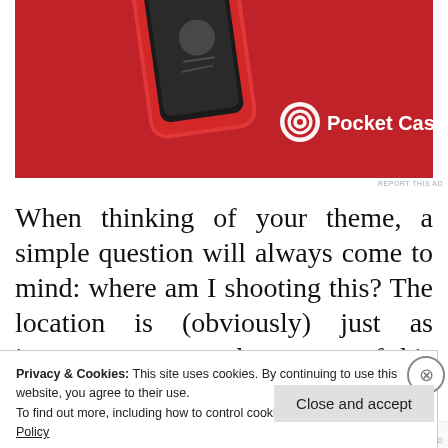[Figure (photo): Red Pocket Casts advertisement banner showing a red phone device with the Pocket Casts logo (circular icon and text 'Pocket Casts') on a red background]
REPORT THIS AD
When thinking of your theme, a simple question will always come to mind: where am I shooting this? The location is (obviously) just as important as any other aspect of this photo
Privacy & Cookies: This site uses cookies. By continuing to use this website, you agree to their use.
To find out more, including how to control cookies, see here: Cookie Policy
Close and accept